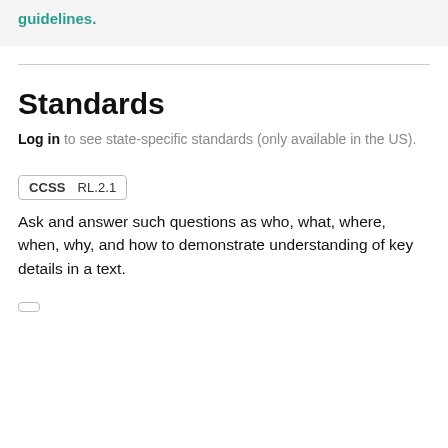guidelines.
Standards
Log in to see state-specific standards (only available in the US).
CCSS  RL.2.1
Ask and answer such questions as who, what, where, when, why, and how to demonstrate understanding of key details in a text.